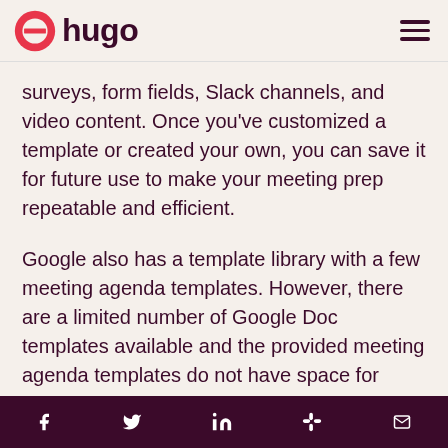hugo
surveys, form fields, Slack channels, and video content. Once you've customized a template or created your own, you can save it for future use to make your meeting prep repeatable and efficient.
Google also has a template library with a few meeting agenda templates. However, there are a limited number of Google Doc templates available and the provided meeting agenda templates do not have space for advanced fields or blocks.
Social media icons: Facebook, Twitter, LinkedIn, Slack, Email